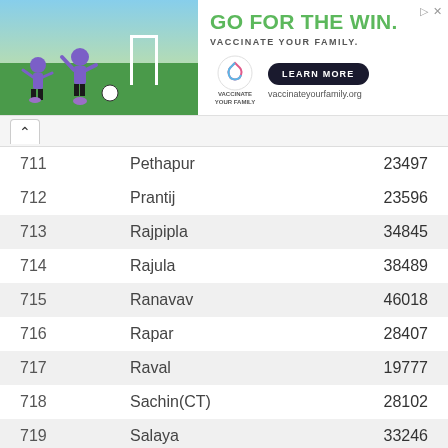[Figure (screenshot): Advertisement banner: GO FOR THE WIN. VACCINATE YOUR FAMILY. vaccinateyourfamily.org with LEARN MORE button and soccer players illustration]
| # | Name | Value |
| --- | --- | --- |
| 711 | Pethapur | 23497 |
| 712 | Prantij | 23596 |
| 713 | Rajpipla | 34845 |
| 714 | Rajula | 38489 |
| 715 | Ranavav | 46018 |
| 716 | Rapar | 28407 |
| 717 | Raval | 19777 |
| 718 | Sachin(CT) | 28102 |
| 719 | Salaya | 33246 |